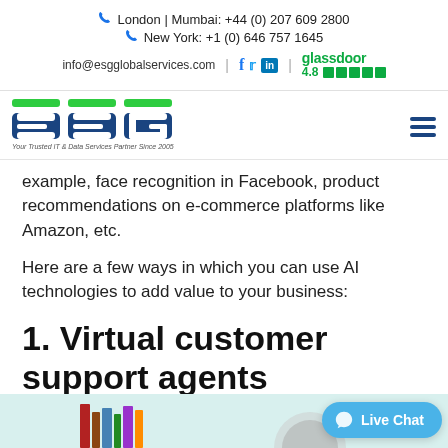London | Mumbai: +44 (0) 207 609 2800 | New York: +1 (0) 646 757 1645 | info@esgglobalservices.com | glassdoor 4.8
[Figure (logo): ESG logo with tagline 'Your Trusted IT & Data Services Partner Since 2005' and hamburger menu icon]
example, face recognition in Facebook, product recommendations on e-commerce platforms like Amazon, etc.
Here are a few ways in which you can use AI technologies to add value to your business:
1. Virtual customer support agents
[Figure (illustration): Partial illustration at the bottom of the page with light teal background, showing books/objects and a circular element]
Live Chat